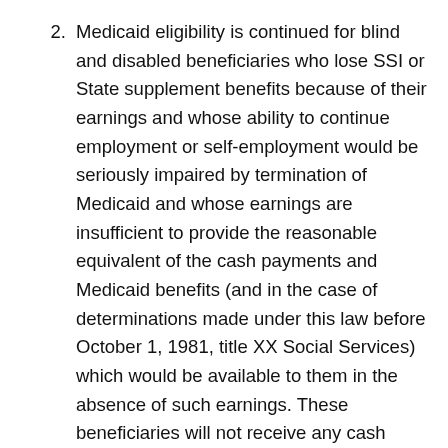2.  Medicaid eligibility is continued for blind and disabled beneficiaries who lose SSI or State supplement benefits because of their earnings and whose ability to continue employment or self-employment would be seriously impaired by termination of Medicaid and whose earnings are insufficient to provide the reasonable equivalent of the cash payments and Medicaid benefits (and in the case of determinations made under this law before October 1, 1981, title XX Social Services) which would be available to them in the absence of such earnings. These beneficiaries will not receive any cash assistance but their Medicaid status as categorically needy cash assistance recipients will continue for Buy-in purposes. This provision is effective from January 1,